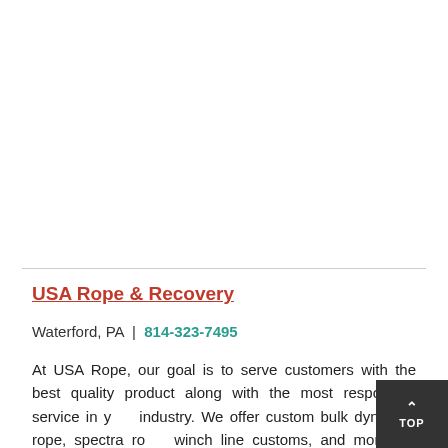USA Rope & Recovery
Waterford, PA  |  814-323-7495
At USA Rope, our goal is to serve customers with the best quality product along with the most responsive service in your industry. We offer custom bulk dyneema rope, spectra rope, winch line customs, and more. All products are made with the